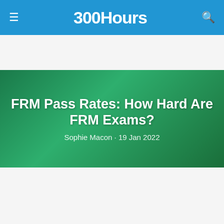300Hours
FRM Pass Rates: How Hard Are FRM Exams?
Sophie Macon · 19 Jan 2022
Want to pass your exams? Start preparing the right way.
My email is Email and I'm preparing for CFA Level 1
Get The Free Guides